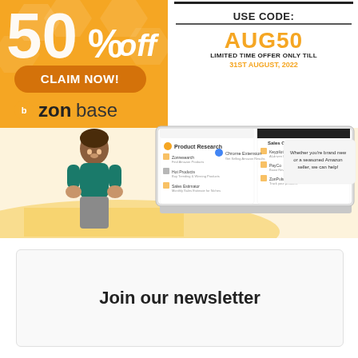[Figure (infographic): Zonbase promotional banner with '50% off' text in orange, 'CLAIM NOW!' orange button, Zonbase logo, 'USE CODE: AUG50' promotion with LIMITED TIME OFFER ONLY TILL 31ST AUGUST, 2022, animated character, and screenshot of Zonbase platform showing Product Research and Sales Optimization sections]
Join our newsletter